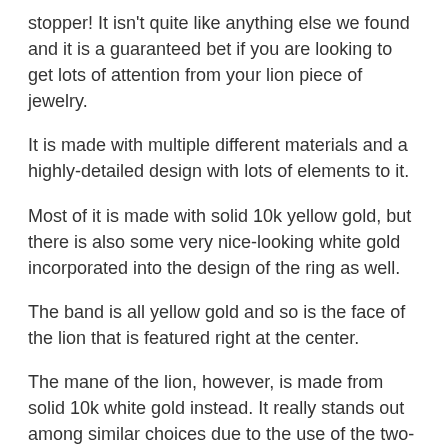stopper! It isn't quite like anything else we found and it is a guaranteed bet if you are looking to get lots of attention from your lion piece of jewelry.
It is made with multiple different materials and a highly-detailed design with lots of elements to it.
Most of it is made with solid 10k yellow gold, but there is also some very nice-looking white gold incorporated into the design of the ring as well.
The band is all yellow gold and so is the face of the lion that is featured right at the center.
The mane of the lion, however, is made from solid 10k white gold instead. It really stands out among similar choices due to the use of the two-tone solid 10k gold.
The band is also beautifully decorated all along the sides. Indentions and raised sections within the side of the band